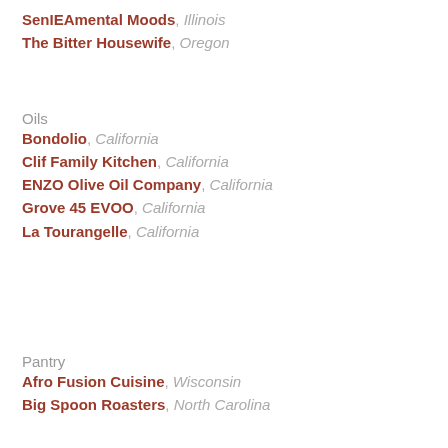SenIEAmental Moods, Illinois
The Bitter Housewife, Oregon
Oils
Bondolio, California
Clif Family Kitchen, California
ENZO Olive Oil Company, California
Grove 45 EVOO, California
La Tourangelle, California
Pantry
Afro Fusion Cuisine, Wisconsin
Big Spoon Roasters, North Carolina